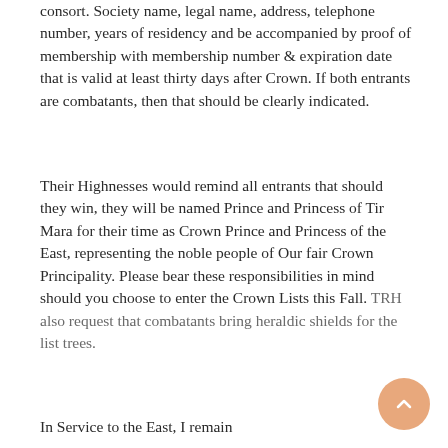consort. Society name, legal name, address, telephone number, years of residency and be accompanied by proof of membership with membership number & expiration date that is valid at least thirty days after Crown. If both entrants are combatants, then that should be clearly indicated.
Their Highnesses would remind all entrants that should they win, they will be named Prince and Princess of Tir Mara for their time as Crown Prince and Princess of the East, representing the noble people of Our fair Crown Principality. Please bear these responsibilities in mind should you choose to enter the Crown Lists this Fall. TRH also request that combatants bring heraldic shields for the list trees.
In Service to the East, I remain